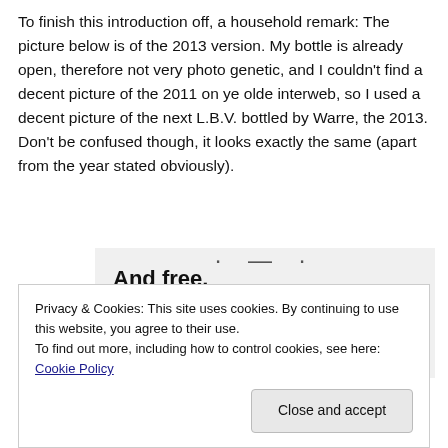To finish this introduction off, a household remark: The picture below is of the 2013 version. My bottle is already open, therefore not very photo genetic, and I couldn't find a decent picture of the 2011 on ye olde interweb, so I used a decent picture of the next L.B.V. bottled by Warre, the 2013. Don't be confused though, it looks exactly the same (apart from the year stated obviously).
[Figure (screenshot): Partial screenshot of a webpage showing bold text 'And free.' and circular profile photo thumbnails below, with a partial decorative top bar]
Privacy & Cookies: This site uses cookies. By continuing to use this website, you agree to their use.
To find out more, including how to control cookies, see here: Cookie Policy
Close and accept